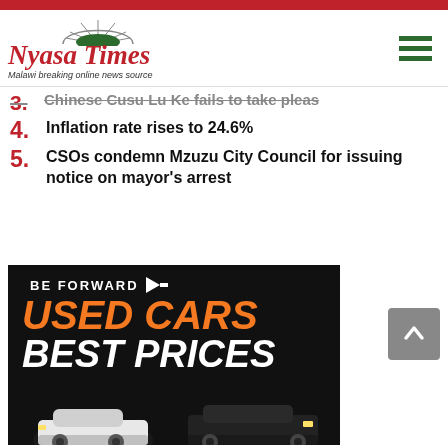[Figure (logo): Nyasa Times logo with arch graphic and tagline 'Malawi breaking online news source']
3. Chinese Cusu Lu Ke fails to take pleas
4. Inflation rate rises to 24.6%
5. CSOs condemn Mzuzu City Council for issuing notice on mayor's arrest
[Figure (photo): Be Forward used cars advertisement showing 'USED CARS BEST PRICES' text with two cars (white Mercedes and dark SUV) on black background]